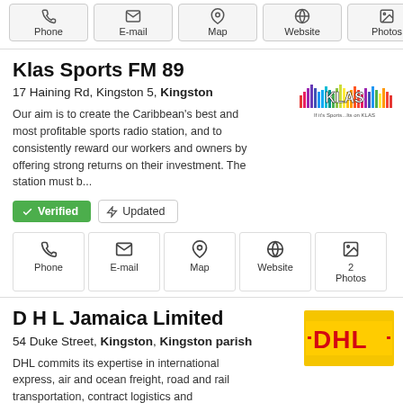Phone  E-mail  Map  Website  Photos
Klas Sports FM 89
17 Haining Rd, Kingston 5, Kingston
Our aim is to create the Caribbean's best and most profitable sports radio station, and to consistently reward our workers and owners by offering strong returns on their investment. The station must b...
[Figure (logo): KLAS Sports FM logo with colorful soundwave bars and text 'If it's Sports...Its on KLAS']
Verified  Updated
Phone  E-mail  Map  Website  2 Photos
D H L Jamaica Limited
54 Duke Street, Kingston, Kingston parish
DHL commits its expertise in international express, air and ocean freight, road and rail transportation, contract logistics and international mail services to its customers. A global network composed ...
[Figure (logo): DHL logo in red on yellow background]